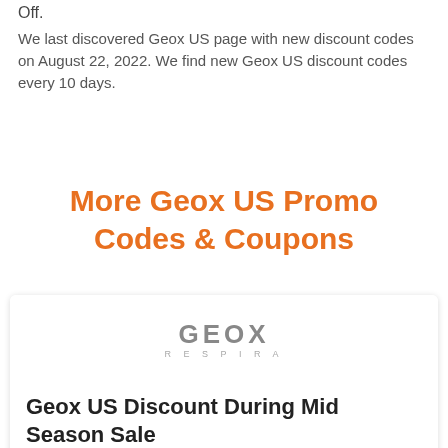Off.
We last discovered Geox US page with new discount codes on August 22, 2022. We find new Geox US discount codes every 10 days.
More Geox US Promo Codes & Coupons
[Figure (logo): Geox Respira logo in gray]
Geox US Discount During Mid Season Sale
Shop and Save throughout Mid Season Sale legitimate on a selection of things